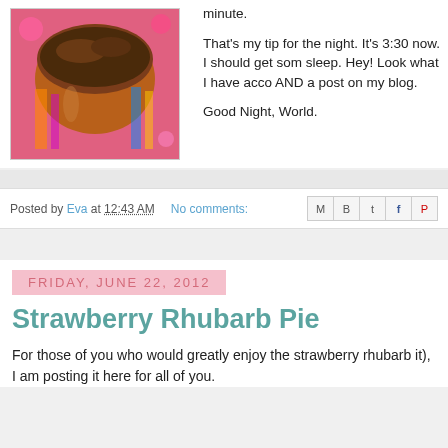[Figure (photo): A close-up photo of what appears to be a dessert in a colorful patterned bowl or mug, set on a vibrant floral background.]
That's my tip for the night. It's 3:30 now. I should get some sleep. Hey! Look what I have accomplished AND a post on my blog.

Good Night, World.
Posted by Eva at 12:43 AM   No comments:
FRIDAY, JUNE 22, 2012
Strawberry Rhubarb Pie
For those of you who would greatly enjoy the strawberry rhubarb (or just rhubarb without the strawberry in it), I am posting it here for all of you.